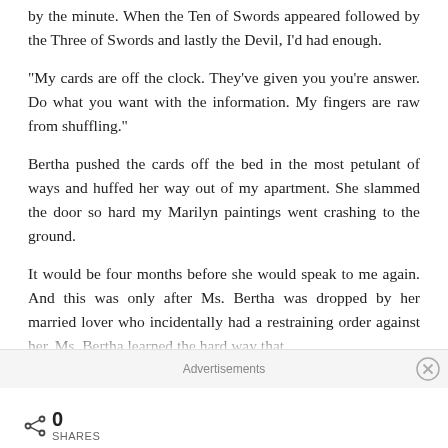by the minute.  When the Ten of Swords appeared followed by the Three of Swords and lastly the Devil, I’d had enough.
“My cards are off the clock.  They’ve given you you’re answer.  Do what you want with the information.  My fingers are raw from shuffling.”
Bertha pushed the cards off the bed in the most petulant of ways and huffed her way out of my apartment.  She slammed the door so hard my Marilyn paintings went crashing to the ground.
It would be four months before she would speak to me again.  And this was only after Ms. Bertha was dropped by her married lover who incidentally had a restraining order against her.  Ms. Bertha learned the hard way that
Advertisements
0
SHARES